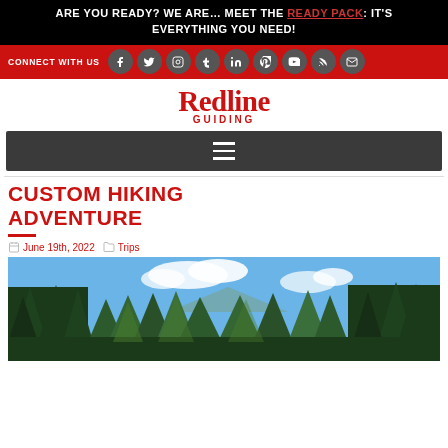ARE YOU READY? WE ARE... MEET THE READY PACK: IT'S EVERYTHING YOU NEED!
CONNECT WITH US
[Figure (logo): Redline Guiding logo with red and black text]
CUSTOM HIKING ADVENTURE
June 19th, 2022   Trips
[Figure (photo): Forest of tall evergreen trees with blue sky and clouds, mountain visible in background]